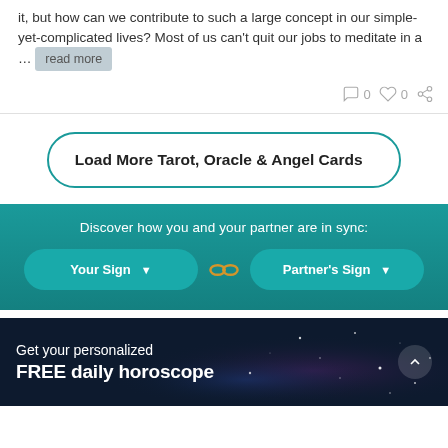it, but how can we contribute to such a large concept in our simple-yet-complicated lives? Most of us can't quit our jobs to meditate in a … read more
0  0
Load More Tarot, Oracle & Angel Cards
Discover how you and your partner are in sync:
Your Sign
Partner's Sign
Get your personalized FREE daily horoscope